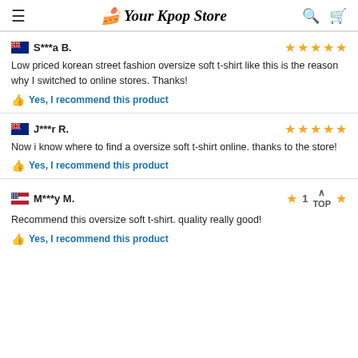Your Kpop Store
S***a B. — 5 stars
Low priced korean street fashion oversize soft t-shirt like this is the reason why I switched to online stores. Thanks!
Yes, I recommend this product
J***r R. — 5 stars
Now i know where to find a oversize soft t-shirt online. thanks to the store!
Yes, I recommend this product
M***y M. — 1 star
Recommend this oversize soft t-shirt. quality really good!
Yes, I recommend this product